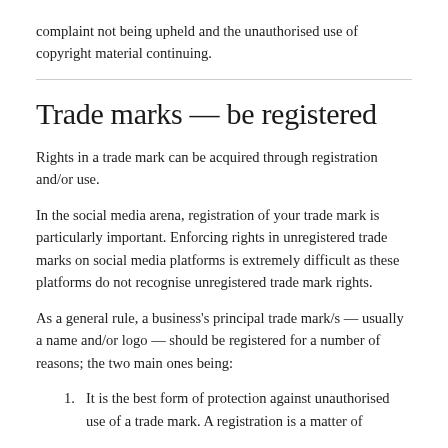complaint not being upheld and the unauthorised use of copyright material continuing.
Trade marks — be registered
Rights in a trade mark can be acquired through registration and/or use.
In the social media arena, registration of your trade mark is particularly important. Enforcing rights in unregistered trade marks on social media platforms is extremely difficult as these platforms do not recognise unregistered trade mark rights.
As a general rule, a business's principal trade mark/s — usually a name and/or logo — should be registered for a number of reasons; the two main ones being:
1. It is the best form of protection against unauthorised use of a trade mark. A registration is a matter of